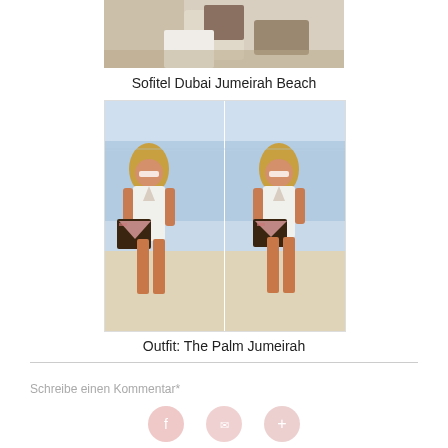[Figure (photo): Partial photo of person on bed with luggage, cropped at top]
Sofitel Dubai Jumeirah Beach
[Figure (photo): Two side-by-side photos of a blonde woman in a white romper carrying a Louis Vuitton bag on a beach (The Palm Jumeirah, Dubai)]
Outfit: The Palm Jumeirah
Schreibe einen Kommentar*
[Figure (illustration): Three pink social media icon buttons (Facebook, share, add)]